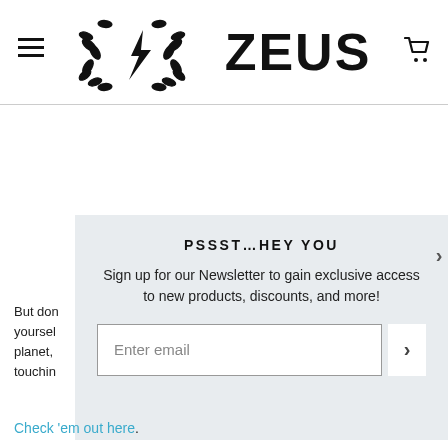ZEUS — navigation header with hamburger menu, Zeus logo, and cart icon
PSSST…HEY YOU
Sign up for our Newsletter to gain exclusive access to new products, discounts, and more!
Enter email
But don't just take our word for it. See for yourself how our products protect you, the planet, and the things and people you love touching...
Check 'em out here.